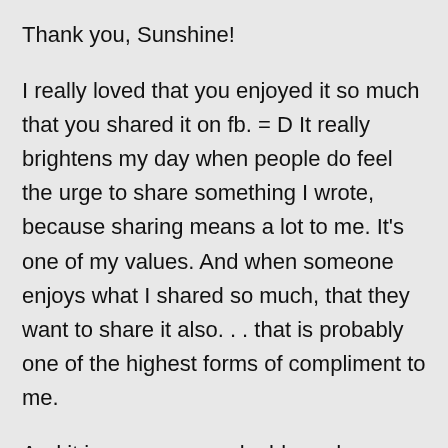Thank you, Sunshine!
I really loved that you enjoyed it so much that you shared it on fb. = D It really brightens my day when people do feel the urge to share something I wrote, because sharing means a lot to me. It’s one of my values. And when someone enjoys what I shared so much, that they want to share it also. . . that is probably one of the highest forms of compliment to me.
And it is even more valuable and meaningful to me when the person only shares when it really touched them. It lit me up to see you had shared it on fb, and the same when Carmen did too. Between the